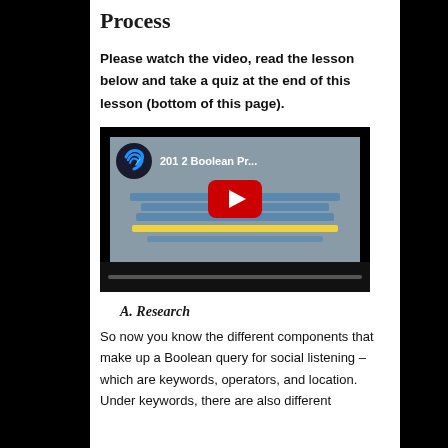Process
Please watch the video, read the lesson below and take a quiz at the end of this lesson (bottom of this page).
[Figure (screenshot): YouTube video thumbnail showing '201 2 Boolean Pr...' with a play button overlay and a logo in the top-left corner]
A. Research
So now you know the different components that make up a Boolean query for social listening – which are keywords, operators, and location. Under keywords, there are also different